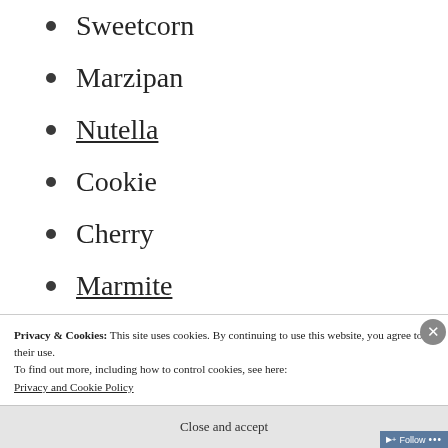Sweetcorn
Marzipan
Nutella
Cookie
Cherry
Marmite
Tuna
Privacy & Cookies: This site uses cookies. By continuing to use this website, you agree to their use.
To find out more, including how to control cookies, see here:
Privacy and Cookie Policy
Close and accept